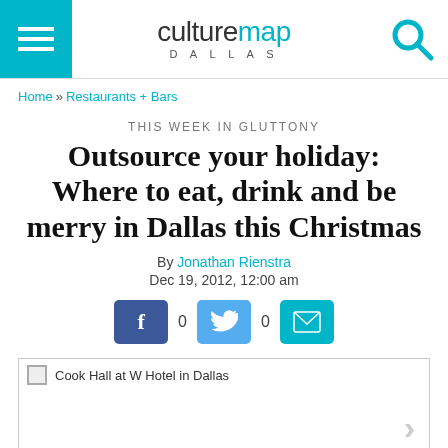culturemap DALLAS
Home » Restaurants + Bars
THIS WEEK IN GLUTTONY
Outsource your holiday: Where to eat, drink and be merry in Dallas this Christmas
By Jonathan Rienstra
Dec 19, 2012, 12:00 am
[Figure (other): Social sharing buttons: Facebook (0), Twitter (0), Email]
[Figure (photo): Cook Hall at W Hotel in Dallas — image placeholder with caption and right chevron navigation arrow]